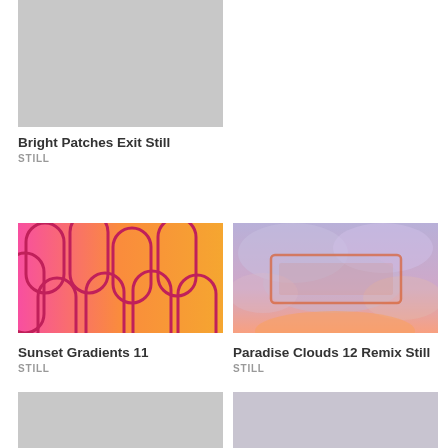[Figure (photo): Light gray placeholder thumbnail image]
Bright Patches Exit Still
STILL
[Figure (photo): Colorful abstract image with pink, magenta, and orange gradient background with rounded arch shapes in darker pink/red outlines]
Sunset Gradients 11
STILL
[Figure (photo): Dreamy pastel purple and pink cloudy sky with faint orange rectangular overlay]
Paradise Clouds 12 Remix Still
STILL
[Figure (photo): Light gray placeholder thumbnail image]
[Figure (photo): Light grayish-purple placeholder thumbnail image]